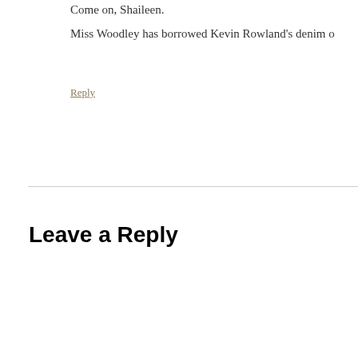Come on, Shaileen.
Miss Woodley has borrowed Kevin Rowland's denim o
Reply
Leave a Reply